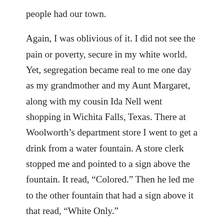people had our town.
Again, I was oblivious of it. I did not see the pain or poverty, secure in my white world. Yet, segregation became real to me one day as my grandmother and my Aunt Margaret, along with my cousin Ida Nell went shopping in Wichita Falls, Texas. There at Woolworth’s department store I went to get a drink from a water fountain. A store clerk stopped me and pointed to a sign above the fountain. It read, “Colored.” Then he led me to the other fountain that had a sign above it that read, “White Only.”
I began to notice more signs. Not just in Woolworth’s but everywhere in Wichita Falls. I asked my grandmother about it and she told me that’s just the way some people are. She reminded me that in the